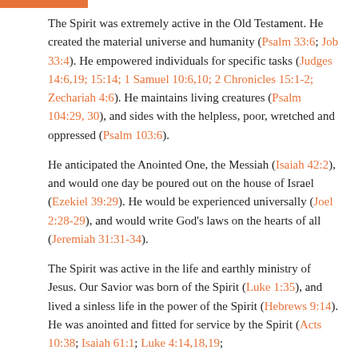The Spirit was extremely active in the Old Testament. He created the material universe and humanity (Psalm 33:6; Job 33:4). He empowered individuals for specific tasks (Judges 14:6,19; 15:14; 1 Samuel 10:6,10; 2 Chronicles 15:1-2; Zechariah 4:6). He maintains living creatures (Psalm 104:29, 30), and sides with the helpless, poor, wretched and oppressed (Psalm 103:6).
He anticipated the Anointed One, the Messiah (Isaiah 42:2), and would one day be poured out on the house of Israel (Ezekiel 39:29). He would be experienced universally (Joel 2:28-29), and would write God's laws on the hearts of all (Jeremiah 31:31-34).
The Spirit was active in the life and earthly ministry of Jesus. Our Savior was born of the Spirit (Luke 1:35), and lived a sinless life in the power of the Spirit (Hebrews 9:14). He was anointed and fitted for service by the Spirit (Acts 10:38; Isaiah 61:1; Luke 4:14,18,19;